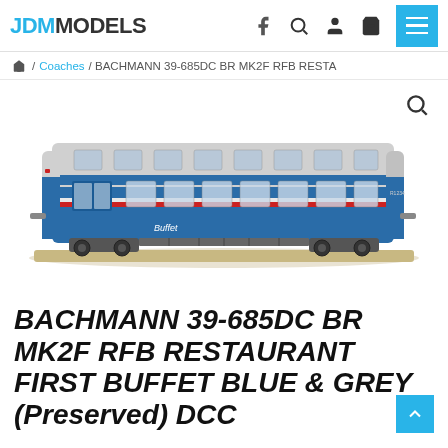JDM MODELS
/ Coaches / BACHMANN 39-685DC BR MK2F RFB RESTA
[Figure (photo): Photo of a Bachmann 39-685DC BR MK2F RFB Restaurant First Buffet model train coach in Blue & Grey livery. The model shows a detailed N-gauge or OO-gauge coach with blue lower body, grey upper body, red stripe, and 'Buffet' lettering. The train sits on a beige/tan surface.]
BACHMANN 39-685DC BR MK2F RFB RESTAURANT FIRST BUFFET BLUE & GREY (Preserved) DCC